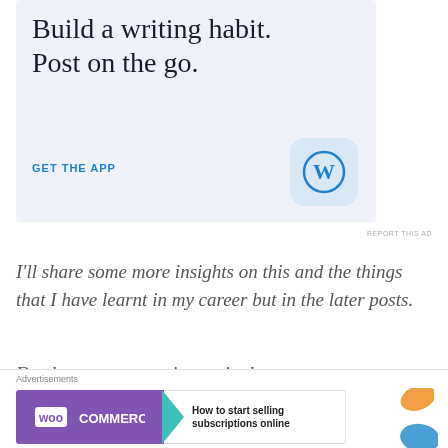[Figure (screenshot): WordPress mobile app advertisement banner with light blue background. Large serif text reads 'Build a writing habit. Post on the go.' with a 'GET THE APP' call-to-action link in blue and a WordPress logo icon (blue W in rounded square) on the right.]
REPORT THIS AD
I'll share some more insights on this and the things that I have learnt in my career but in the later posts.
Do share your experiences in the comments section if
[Figure (screenshot): WooCommerce advertisement banner. Purple left section with WooCommerce logo and white text, teal arrow pointing right, white right section with text 'How to start selling subscriptions online', orange and blue decorative blobs on right.]